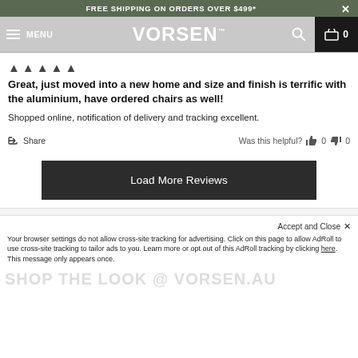FREE SHIPPING ON ORDERS OVER $499*
VORSEN™  MENU  0
★★★★★
Great, just moved into a new home and size and finish is terrific with the aluminium, have ordered chairs as well!
Shopped online, notification of delivery and tracking excellent.
Share  Was this helpful?  👍 0  👎 0
Load More Reviews
Accept and Close ×
Your browser settings do not allow cross-site tracking for advertising. Click on this page to allow AdRoll to use cross-site tracking to tailor ads to you. Learn more or opt out of this AdRoll tracking by clicking here. This message only appears once.
SHOP THE LOOK @ VORSEN.AU